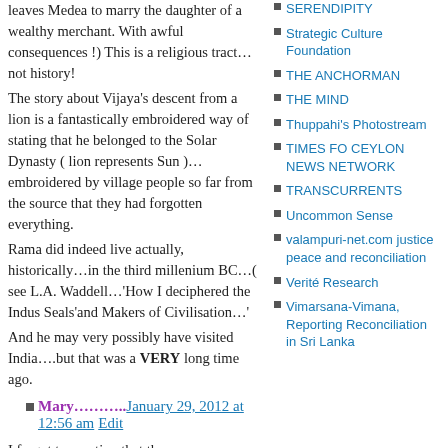leaves Medea to marry the daughter of a wealthy merchant. With awful consequences !) This is a religious tract…not history! The story about Vijaya's descent from a lion is a fantastically embroidered way of stating that he belonged to the Solar Dynasty ( lion represents Sun )…embroidered by village people so far from the source that they had forgotten everything. Rama did indeed live actually, historically…in the third millenium BC…( see L.A. Waddell…'How I deciphered the Indus Seals'and Makers of Civilisation…' And he may very possibly have visited India….but that was a VERY long time ago.
Mary………..January 29, 2012 at 12:56 am Edit
I forgot to mention that there were more than 250
SERENDIPITY
Strategic Culture Foundation
THE ANCHORMAN
THE MIND
Thuppahi's Photostream
TIMES FO CEYLON NEWS NETWORK
TRANSCURRENTS
Uncommon Sense
valampuri-net.com justice peace and reconciliation
Verité Research
Vimarsana-Vimana, Reporting Reconciliation in Sri Lanka